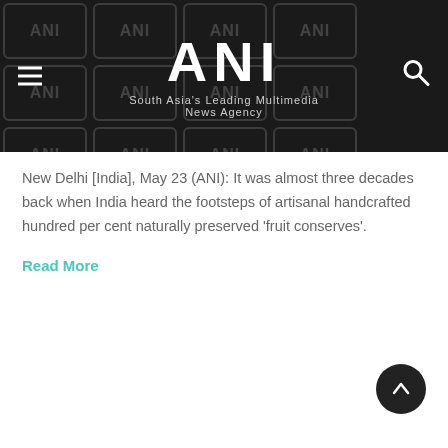ANI — South Asia's Leading Multimedia News Agency
New Delhi [India], May 23 (ANI): It was almost three decades back when India heard the footsteps of artisanal handcrafted hundred per cent naturally preserved 'fruit conserves'.
Read More